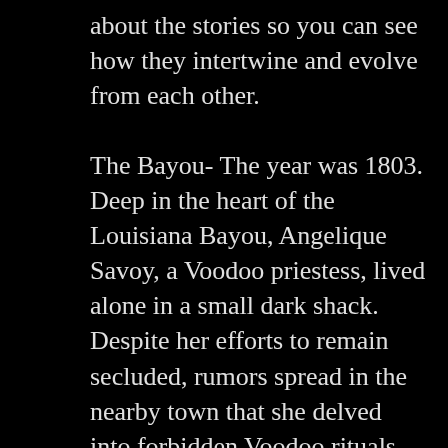about the stories so you can see how they intertwine and evolve from each other.
The Bayou- The year was 1803. Deep in the heart of the Louisiana Bayou, Angelique Savoy, a Voodoo priestess, lived alone in a small dark shack. Despite her efforts to remain secluded, rumors spread in the nearby town that she delved into forbidden Voodoo rituals. Since the only accepted religion was Catholicism, all who were caught practicing Voodoo were sentenced to death. One fateful evening, a mob of residents made their way through the Bayou in search of Angelique. Her